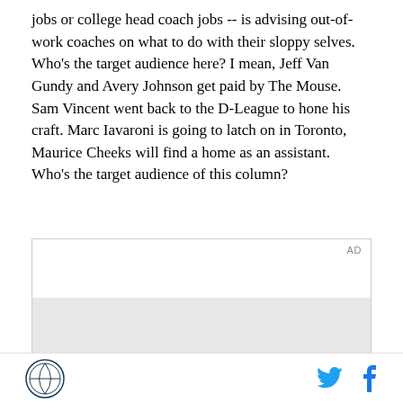jobs or college head coach jobs -- is advising out-of-work coaches on what to do with their sloppy selves. Who's the target audience here? I mean, Jeff Van Gundy and Avery Johnson get paid by The Mouse. Sam Vincent went back to the D-League to hone his craft. Marc Iavaroni is going to latch on in Toronto, Maurice Cheeks will find a home as an assistant. Who's the target audience of this column?
[Figure (other): Advertisement placeholder box with AD label and gray content area]
Site logo | Twitter icon | Facebook icon